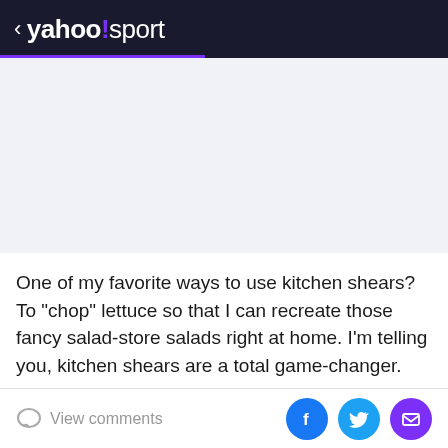< yahoo!/sport
[Figure (other): Advertisement placeholder area with light gray background]
One of my favorite ways to use kitchen shears? To "chop" lettuce so that I can recreate those fancy salad-store salads right at home. I'm telling you, kitchen shears are a total game-changer.
KitchenAid All Purpose Shears with Protective Sheath
View comments